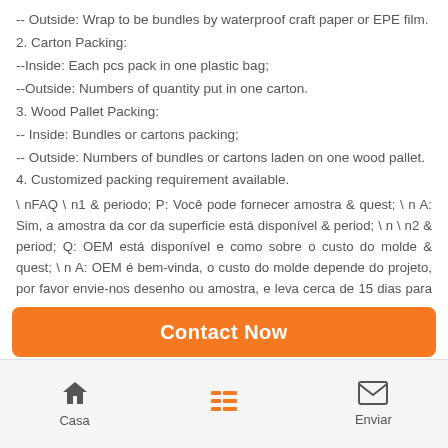-- Outside: Wrap to be bundles by waterproof craft paper or EPE film.
2. Carton Packing:
--Inside: Each pcs pack in one plastic bag;
--Outside: Numbers of quantity put in one carton.
3. Wood Pallet Packing:
-- Inside: Bundles or cartons packing;
-- Outside: Numbers of bundles or cartons laden on one wood pallet.
4. Customized packing requirement available.
\ nFAQ \ n1 & periodo; P: Você pode fornecer amostra & quest; \ n A: Sim, a amostra da cor da superficie está disponível & period; \ n \ n2 & period; Q: OEM está disponível e como sobre o custo do molde & quest; \ n A: OEM é bem-vinda, o custo do molde depende do projeto, por favor envie-nos desenho ou amostra, e leva cerca de 15 dias para fazer um novo molde e amostra & periodo; nBesides, temos mais de 30000 moldes e todo um conjunto de moldes para a janela da Nigéria & porta em nosso armazém, se estiver disponível para
Contact Now
Casa | (menu) | Enviar